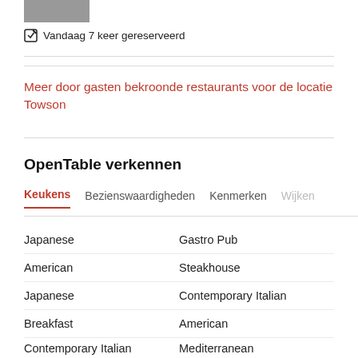[Figure (photo): Small thumbnail image partially visible at top]
Vandaag 7 keer gereserveerd
Meer door gasten bekroonde restaurants voor de locatie Towson
OpenTable verkennen
Keukens
Bezienswaardigheden
Kenmerken
Wijken
Japanese	Gastro Pub
American	Steakhouse
Japanese	Contemporary Italian
Breakfast	American
Contemporary Italian	Mediterranean